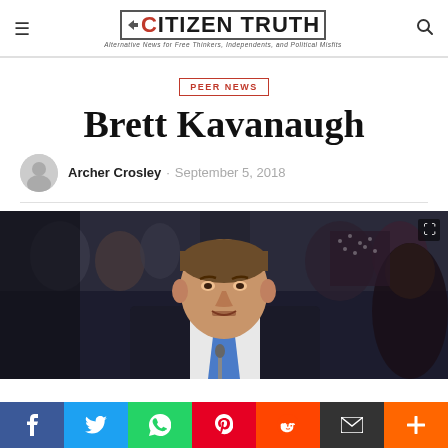CITIZEN TRUTH — Alternative News for Free Thinkers, Independents, and Political Misfits
PEER NEWS
Brett Kavanaugh
Archer Crosley · September 5, 2018
[Figure (photo): Brett Kavanaugh seated at a hearing table in a dark suit and blue tie, speaking, with people visible in the background]